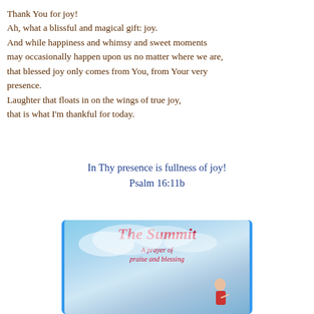Thank You for joy!
Ah, what a blissful and magical gift: joy.
And while happiness and whimsy and sweet moments may occasionally happen upon us no matter where we are, that blessed joy only comes from You, from Your very presence.
Laughter that floats in on the wings of true joy, that is what I'm thankful for today.
In Thy presence is fullness of joy!
Psalm 16:11b
[Figure (illustration): Book cover image for 'The Summit: A prayer of praise and blessing' with blue sky background, red cursive title text, and a figure in the lower right corner.]